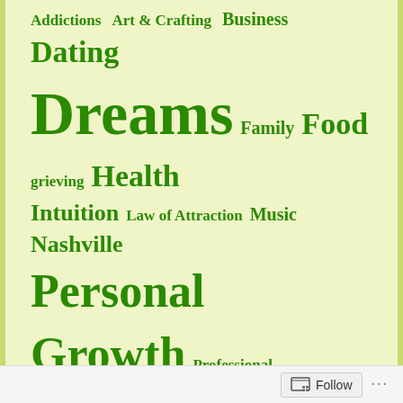Addictions Art & Crafting Business Dating Dreams Family Food grieving Health Intuition Law of Attraction Music Nashville Personal Growth Professional Development Relationships Soapbox Spirituality / Religion Travel Uncategorized Writing
RECENT POSTS
On Dating – Part 1
Delayed Grief
One Day at a Time
Self-Judgement and Shame
Another Writing Nudge...I think
Follow